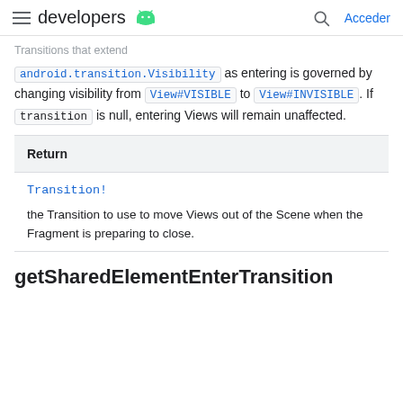developers  Acceder
Transitions that extend android.transition.Visibility as entering is governed by changing visibility from View#VISIBLE to View#INVISIBLE. If transition is null, entering Views will remain unaffected.
| Return |
| --- |
| Transition! | the Transition to use to move Views out of the Scene when the Fragment is preparing to close. |
getSharedElementEnterTransition